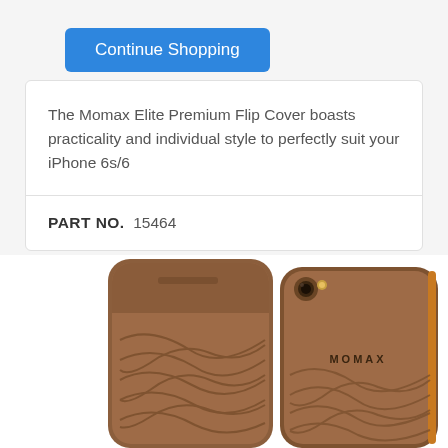Continue Shopping
The Momax Elite Premium Flip Cover boasts practicality and individual style to perfectly suit your iPhone 6s/6
PART NO.  15464
[Figure (photo): Product photo showing two brown leather Momax Elite Premium Flip Cover cases for iPhone 6s/6, displayed front and back, with a textured wave pattern design and MOMAX branding on the back.]